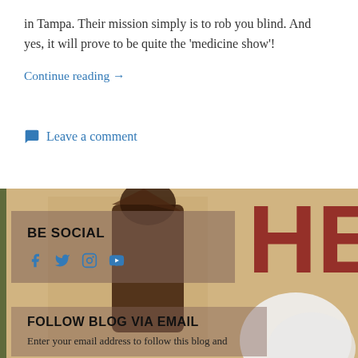in Tampa. Their mission simply is to rob you blind. And yes, it will prove to be quite the ‘medicine show’!
Continue reading →
Leave a comment
[Figure (photo): Background image with vintage-style poster showing large red letters 'HE' on aged background, with a dark silhouetted figure and a white rounded shape in the foreground.]
BE SOCIAL
[Figure (infographic): Social media icons: Facebook, Twitter, Instagram, YouTube in blue]
FOLLOW BLOG VIA EMAIL
Enter your email address to follow this blog and